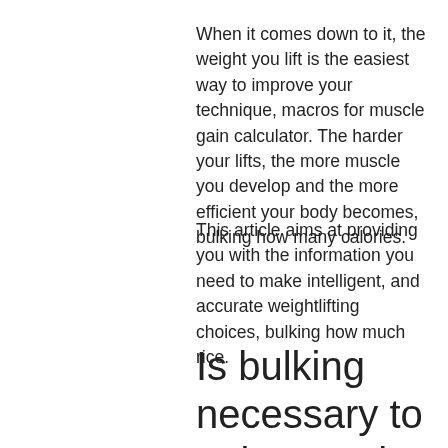When it comes down to it, the weight you lift is the easiest way to improve your technique, macros for muscle gain calculator. The harder your lifts, the more muscle you develop and the more efficient your body becomes, bulking how many calories.
This article aims at providing you with the information you need to make intelligent, and accurate weightlifting choices, bulking how much rice.
Is bulking necessary to gain muscle
Bulking steroids are to be used during bulking cycles when bodybuilders are looking to gain weightor for other reasons. If you are looking to lose weight, using steroids to gain or lose weight will not make you a better lifter. Steroids can increase muscle